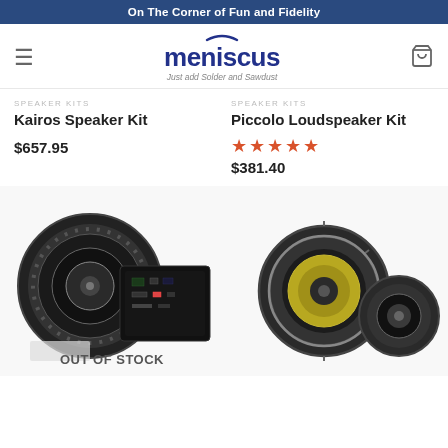On The Corner of Fun and Fidelity
[Figure (logo): Meniscus audio logo with crescent moon arc above the word 'meniscus' in dark blue, tagline: Just add Solder and Sawdust]
SPEAKER KITS
Kairos Speaker Kit
$657.95
SPEAKER KITS
Piccolo Loudspeaker Kit
★★★★★
$381.40
[Figure (photo): Kairos Speaker Kit product photo showing a woofer driver and crossover board, with OUT OF STOCK overlay text]
[Figure (photo): Piccolo Loudspeaker Kit product photo showing a midrange driver and tweeter dome]